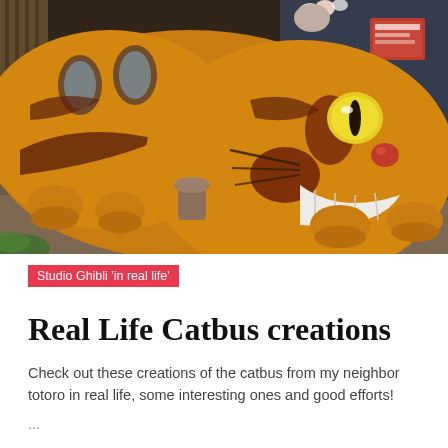[Figure (photo): A large Cat Bus (Nekobus) prop or sculpture from Studio Ghibli's My Neighbor Totoro, displayed in what appears to be a museum or exhibition. The Cat Bus is orange and yellow with dark brown stripes, has a wide grinning face with yellow eyes and a red nose, and is large enough for children to play in. The setting has dim museum lighting with exhibit displays visible in the background.]
Studio Ghibli 'in real life'
Real Life Catbus creations
Check out these creations of the catbus from my neighbor totoro in real life, some interesting ones and good efforts!
...